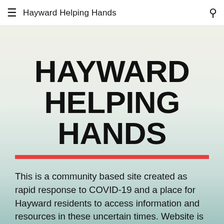Hayward Helping Hands
HAYWARD HELPING HANDS
This is a community based site created as rapid response to COVID-19 and a place for Hayward residents to access information and resources in these uncertain times. Website is work in progress and we will work to continue